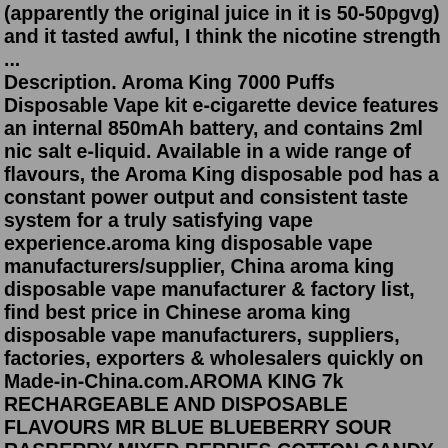(apparently the original juice in it is 50-50pgvg) and it tasted awful, I think the nicotine strength ... Description. Aroma King 7000 Puffs Disposable Vape kit e-cigarette device features an internal 850mAh battery, and contains 2ml nic salt e-liquid. Available in a wide range of flavours, the Aroma King disposable pod has a constant power output and consistent taste system for a truly satisfying vape experience.aroma king disposable vape manufacturers/supplier, China aroma king disposable vape manufacturer & factory list, find best price in Chinese aroma king disposable vape manufacturers, suppliers, factories, exporters & wholesalers quickly on Made-in-China.com.AROMA KING 7k RECHARGEABLE AND DISPOSABLE FLAVOURS MR BLUE BLUEBERRY SOUR RASBERRY MIXED BERRIES COTTON CANDY £17 each ... AROMA KING 7000. Northampton ... how long do i charge aroma king 7000 821.1K views Discover short videos related to how long do i charge aroma king